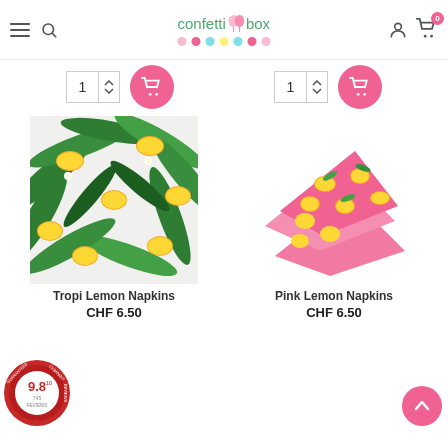confetti box
[Figure (photo): Tropical lemon napkin with green palm leaves and yellow lemons on white background]
Tropi Lemon Napkins
CHF 6.50
[Figure (photo): Pink lemon napkins with yellow lemons on pink background, fanned out]
Pink Lemon Napkins
CHF 6.50